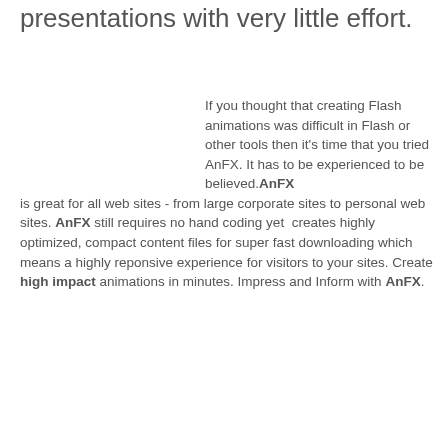presentations with very little effort.
If you thought that creating Flash animations was difficult in Flash or other tools then it's time that you tried AnFX. It has to be experienced to be believed. AnFX is great for all web sites - from large corporate sites to personal web sites. AnFX still requires no hand coding yet creates highly optimized, compact content files for super fast downloading which means a highly reponsive experience for visitors to your sites. Create high impact animations in minutes. Impress and Inform with AnFX.